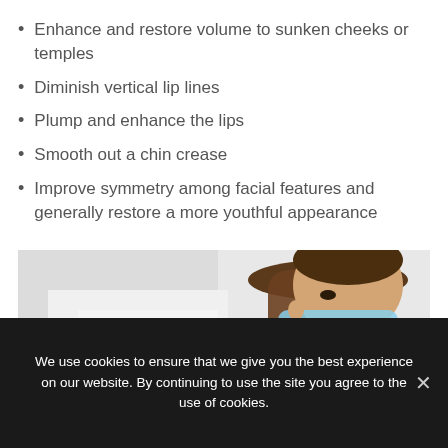Enhance and restore volume to sunken cheeks or temples
Diminish vertical lip lines
Plump and enhance the lips
Smooth out a chin crease
Improve symmetry among facial features and generally restore a more youthful appearance
[Figure (photo): A woman with brown hair pulled back wearing a blue surgical mask and white coat, looking downward]
We use cookies to ensure that we give you the best experience on our website. By continuing to use the site you agree to the use of cookies.